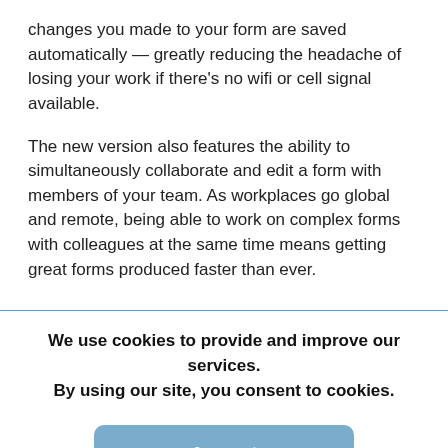changes you made to your form are saved automatically — greatly reducing the headache of losing your work if there's no wifi or cell signal available.
The new version also features the ability to simultaneously collaborate and edit a form with members of your team. As workplaces go global and remote, being able to work on complex forms with colleagues at the same time means getting great forms produced faster than ever.
We use cookies to provide and improve our services. By using our site, you consent to cookies.
Accept
Learn more